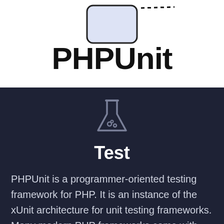[Figure (logo): PHPUnit logo with flask/beaker image and bold PHPUnit text on white background]
[Figure (illustration): Grey flask/beaker emoji icon on dark background]
Test
PHPUnit is a programmer-oriented testing framework for PHP. It is an instance of the xUnit architecture for unit testing frameworks. Many modern PHP frameworks come with PHPUnit integration, including Laravel, Symfony and CakePHP. CMS's including WordPress and Drupal also use it for testing.